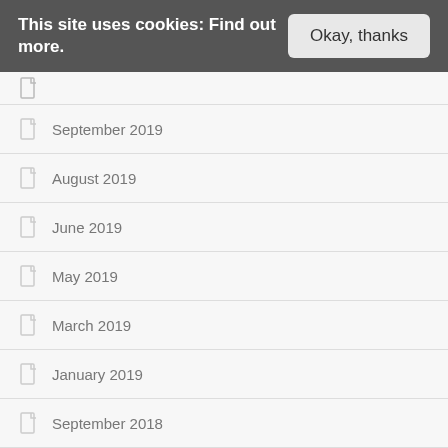This site uses cookies: Find out more.
Okay, thanks
September 2019
August 2019
June 2019
May 2019
March 2019
January 2019
September 2018
This website uses cookies to improve your experience. We'll assume you're ok with this, but you can opt-out if you wish. Cookie settings ACCEPT REJECT